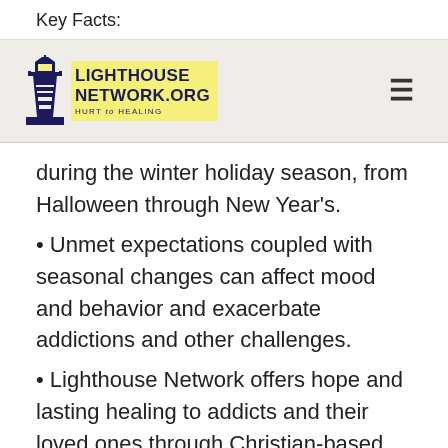Key Facts:
[Figure (logo): Lighthouse Network logo: dark blue lighthouse illustration next to text 'LIGHTHOUSE NETWORK.ORG HURT to HEALING' with yellow highlight background. Hamburger menu icon on right.]
during the winter holiday season, from Halloween through New Year's.
Unmet expectations coupled with seasonal changes can affect mood and behavior and exacerbate addictions and other challenges.
Lighthouse Network offers hope and lasting healing to addicts and their loved ones through Christian-based resources, treatment referrals, and therapy.